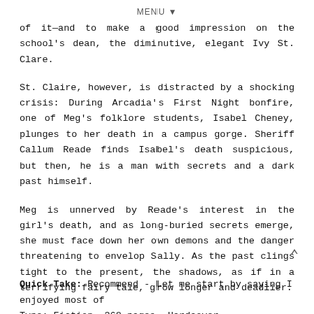MENU ▼
of it—and to make a good impression on the school's dean, the diminutive, elegant Ivy St. Clare.
St. Claire, however, is distracted by a shocking crisis: During Arcadia's First Night bonfire, one of Meg's folklore students, Isabel Cheney, plunges to her death in a campus gorge. Sheriff Callum Reade finds Isabel's death suspicious, but then, he is a man with secrets and a dark past himself.
Meg is unnerved by Reade's interest in the girl's death, and as long-buried secrets emerge, she must face down her own demons and the danger threatening to envelop Sally. As the past clings tight to the present, the shadows, as if in a terrifying fairy tale, grow longer and deadlier.
Type: Fiction, 368 pages, Hardcover
Quick Take: Recommend - Let me start by saying I enjoyed most of